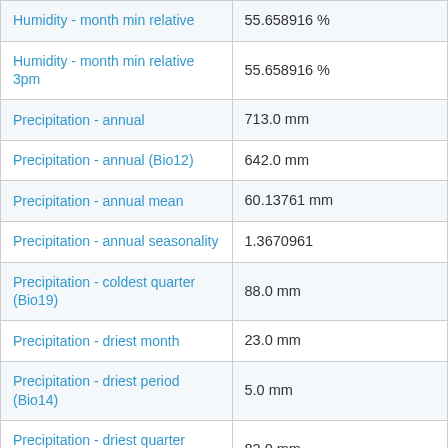| Parameter | Value |
| --- | --- |
| Humidity - month min relative | 55.658916 % |
| Humidity - month min relative 3pm | 55.658916 % |
| Precipitation - annual | 713.0 mm |
| Precipitation - annual (Bio12) | 642.0 mm |
| Precipitation - annual mean | 60.13761 mm |
| Precipitation - annual seasonality | 1.3670961 |
| Precipitation - coldest quarter (Bio19) | 88.0 mm |
| Precipitation - driest month | 23.0 mm |
| Precipitation - driest period (Bio14) | 5.0 mm |
| Precipitation - driest quarter (Bio17) | 82.0 mm |
| Precipitation - equinox seasonality ratio | 0.9813802 |